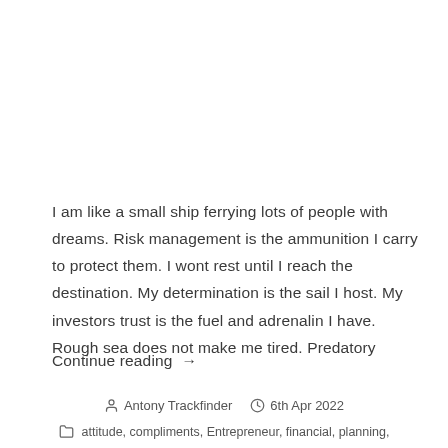I am like a small ship ferrying lots of people with dreams. Risk management is the ammunition I carry to protect them. I wont rest until I reach the destination. My determination is the sail I host. My investors trust is the fuel and adrenalin I have. Rough sea does not make me tired. Predatory
Continue reading →
Antony Trackfinder  6th Apr 2022  attitude, compliments, Entrepreneur, financial, planning,